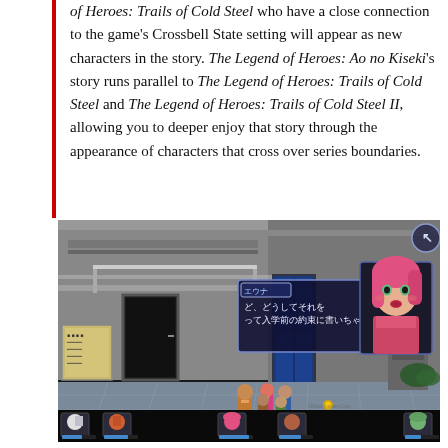of Heroes: Trails of Cold Steel who have a close connection to the game's Crossbell State setting will appear as new characters in the story. The Legend of Heroes: Ao no Kiseki's story runs parallel to The Legend of Heroes: Trails of Cold Steel and The Legend of Heroes: Trails of Cold Steel II, allowing you to deeper enjoy that story through the appearance of characters that cross over series boundaries.
[Figure (screenshot): In-game screenshot from The Legend of Heroes: Ao no Kiseki showing isometric RPG gameplay with anime-style characters on a stone plaza outside a building. A dialogue box shows Japanese text with a pink-haired character portrait. Bottom HUD shows character faces and HP bars.]